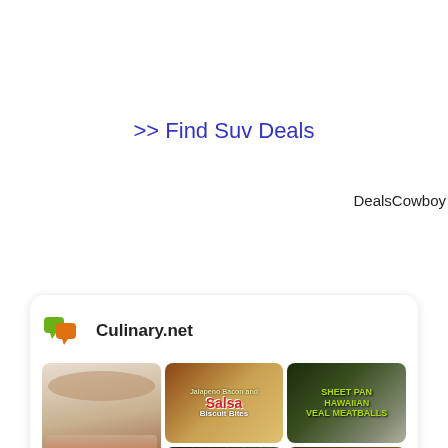>> Find Suv Deals
DealsCowboy
[Figure (screenshot): Culinary.net website card showing logo and food recipe image thumbnails including Jalapeno Bacon and Salsa Biscuit Bites, Sheet Pan Hawaiian Veal Meatballs, and other recipes.]